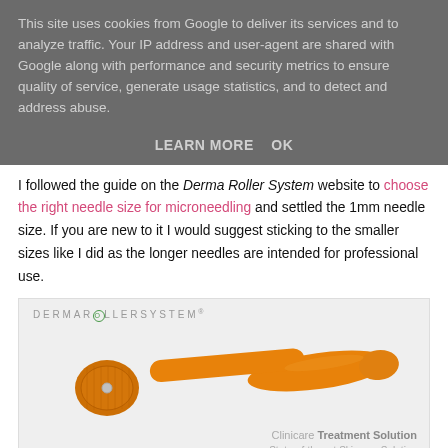This site uses cookies from Google to deliver its services and to analyze traffic. Your IP address and user-agent are shared with Google along with performance and security metrics to ensure quality of service, generate usage statistics, and to detect and address abuse.
LEARN MORE    OK
I followed the guide on the Derma Roller System website to choose the right needle size for microneedling and settled the 1mm needle size. If you are new to it I would suggest sticking to the smaller sizes like I did as the longer needles are intended for professional use.
[Figure (photo): Photo of an orange derma roller (microneedling device) with the DERMAROLLERSYSTEM logo and text 'Clinicare Treatment Solution, State-of-the-art Skincare Solution' on a light grey background.]
Derma Roller System